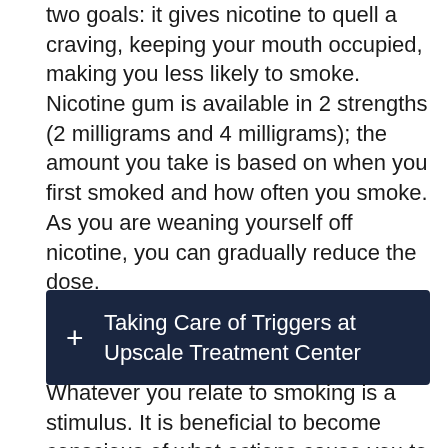two goals: it gives nicotine to quell a craving, keeping your mouth occupied, making you less likely to smoke. Nicotine gum is available in 2 strengths (2 milligrams and 4 milligrams); the amount you take is based on when you first smoked and how often you smoke. As you are weaning yourself off nicotine, you can gradually reduce the dose.
Taking Care of Triggers at Upscale Treatment Center
Whatever you relate to smoking is a stimulus. It is beneficial to become conscious of what actions cause you to smoke to treat nicotine